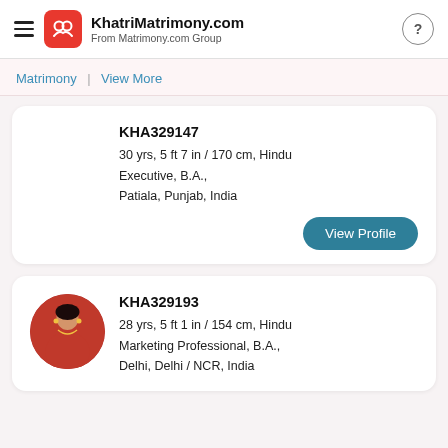KhatriMatrimony.com From Matrimony.com Group
Matrimony | View More
KHA329147
30 yrs, 5 ft 7 in / 170 cm, Hindu
Executive, B.A.,
Patiala, Punjab, India
KHA329193
28 yrs, 5 ft 1 in / 154 cm, Hindu
Marketing Professional, B.A.,
Delhi, Delhi / NCR, India